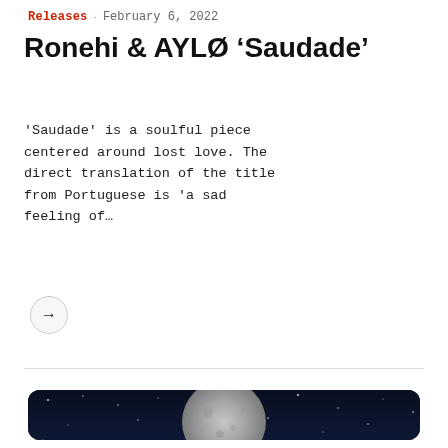Releases · February 6, 2022
Ronehi & AYL0 'Saudade'
'Saudade' is a soulful piece centered around lost love. The direct translation of the title from Portuguese is 'a sad feeling of…
[Figure (photo): Two astronauts in suits standing on a reddish alien landscape, looking up at a large moon against a deep blue starry sky with warm orange horizon glow.]